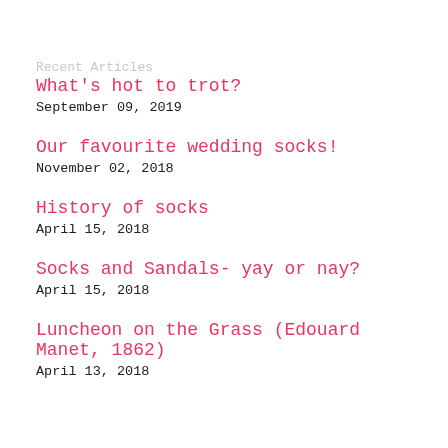Recent Articles
What's hot to trot?
September 09, 2019
Our favourite wedding socks!
November 02, 2018
History of socks
April 15, 2018
Socks and Sandals- yay or nay?
April 15, 2018
Luncheon on the Grass (Edouard Manet, 1862)
April 13, 2018